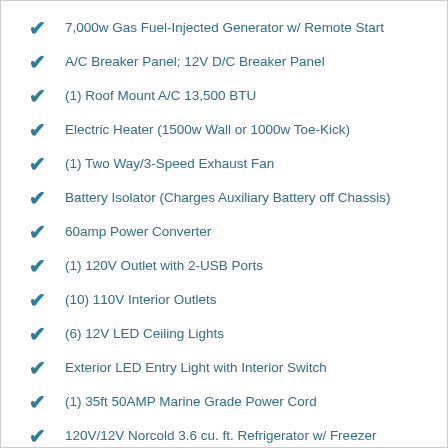7,000w Gas Fuel-Injected Generator w/ Remote Start
A/C Breaker Panel; 12V D/C Breaker Panel
(1) Roof Mount A/C 13,500 BTU
Electric Heater (1500w Wall or 1000w Toe-Kick)
(1) Two Way/3-Speed Exhaust Fan
Battery Isolator (Charges Auxiliary Battery off Chassis)
60amp Power Converter
(1) 120V Outlet with 2-USB Ports
(10) 110V Interior Outlets
(6) 12V LED Ceiling Lights
Exterior LED Entry Light with Interior Switch
(1) 35ft 50AMP Marine Grade Power Cord
120V/12V Norcold 3.6 cu. ft. Refrigerator w/ Freezer
(1) 18gal Fresh Water Tank